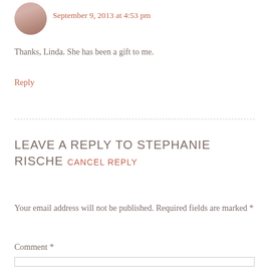[Figure (photo): Small circular avatar photo of a woman smiling]
September 9, 2013 at 4:53 pm
Thanks, Linda. She has been a gift to me.
Reply
LEAVE A REPLY TO STEPHANIE RISCHE CANCEL REPLY
Your email address will not be published. Required fields are marked *
Comment *